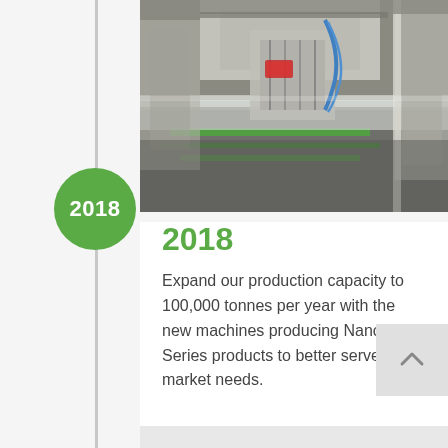[Figure (photo): Industrial manufacturing machinery — automated production line with robotic arms processing flat panels/sheets in a factory setting. Green conveyor belts and metallic machine components visible.]
2018
Expand our production capacity to 100,000 tonnes per year with the new machines producing Nano Series products to better serve the market needs.